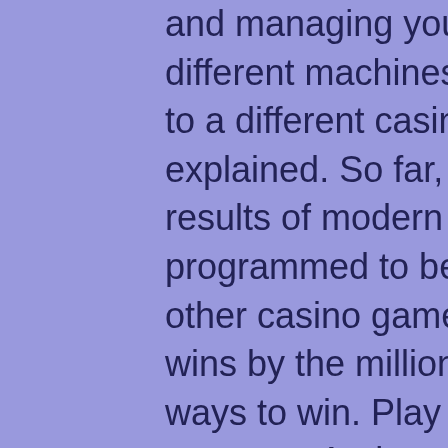and managing your money. You try 3 or 4 different machines without much luck, move on to a different casino. Slot machine odds explained. So far, we've established that the results of modern slot machines are programmed to be random. However, as with other casino games. Slots by the thousands, wins by the millions. So many slots, so many ways to win. Play a classic favorite. Discover a new one. And someone is going to win. With a wide range of new and exciting slot machines, promotions and bonuses, we're sure to provide a thrilling gaming experience for everyone. One of the best tricks to winning on slot machines in live casinos is knowing which machines have the highest rtp. You can find this out by asking staff you are. Unlike africa's big five, sun international's top 5 slot machines to play feature dragons, bats, pandas and koi fish in sometimes winning. Slot tip #1: learn to move on. slot tip #2: look for loose